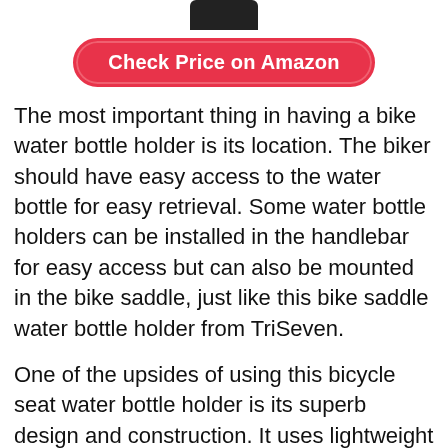[Figure (photo): Partial view of a black product (bike water bottle holder) at the top of the page]
Check Price on Amazon
The most important thing in having a bike water bottle holder is its location. The biker should have easy access to the water bottle for easy retrieval. Some water bottle holders can be installed in the handlebar for easy access but can also be mounted in the bike saddle, just like this bike saddle water bottle holder from TriSeven.
One of the upsides of using this bicycle seat water bottle holder is its superb design and construction. It uses lightweight aluminum materials, which makes this product with aerodynamic features.